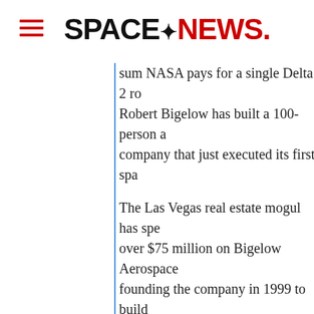SpaceNews
sum NASA pays for a single Delta 2 rocket. Robert Bigelow has built a 100-person a company that just executed its first space
The Las Vegas real estate mogul has spent over $75 million on Bigelow Aerospace since founding the company in 1999 to build privately owned inflatable space habitats. Their Genesis 1, an inflatable spacecraft launched July 12 on a converted Russian ballistic missile, is just the first of many prototypes Bigelow intends to launch every six months as he builds up to deploying the company's first fully habitable modules before the end of the decade.
Genesis 1 is about one-third the size of